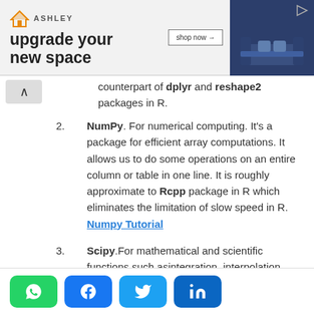[Figure (photo): Ashley Furniture advertisement banner: logo with orange house icon, tagline 'upgrade your new space', shop now button, dark blue sofa image on right]
counterpart of dplyr and reshape2 packages in R.
NumPy. For numerical computing. It's a package for efficient array computations. It allows us to do some operations on an entire column or table in one line. It is roughly approximate to Rcpp package in R which eliminates the limitation of slow speed in R. Numpy Tutorial
Scipy.For mathematical and scientific functions such asintegration, interpolation, signal processing, linear algebra, statistics,